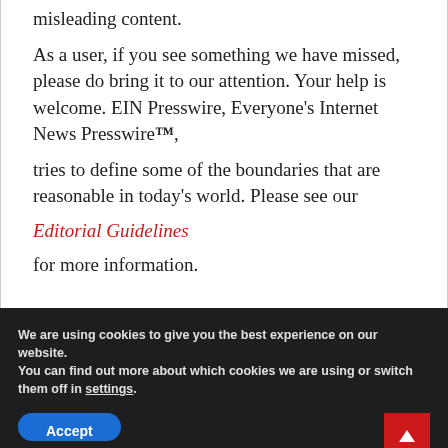misleading content.

As a user, if you see something we have missed, please do bring it to our attention. Your help is welcome. EIN Presswire, Everyone's Internet News Presswire™,

tries to define some of the boundaries that are reasonable in today's world. Please see our Editorial Guidelines for more information.
We are using cookies to give you the best experience on our website.
You can find out more about which cookies we are using or switch them off in settings.